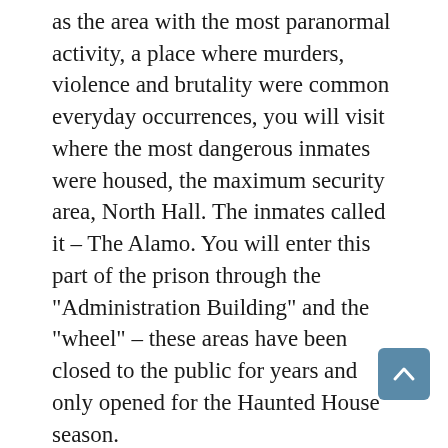as the area with the most paranormal activity, a place where murders, violence and brutality were common everyday occurrences, you will visit where the most dangerous inmates were housed, the maximum security area, North Hall. The inmates called it – The Alamo. You will enter this part of the prison through the "Administration Building" and the "wheel" – these areas have been closed to the public for years and only opened for the Haunted House season. The North Walk is NOT an attraction, but a flashlight tour of an area that was once considered one of the bloodiest institutions in the nation. The North Walk is not a staged attraction. You will not see Halloween props or any actors to scare you. The North Walk is a guided tour led by one of our regular tour guides. You will hear real stories of the prison and have the opportunity to experience real paranormal activity. There will be